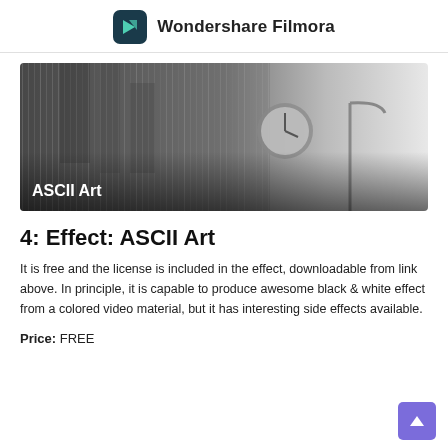Wondershare Filmora
[Figure (screenshot): Black and white ASCII art styled image showing a city scene with a clock and street lamp, with 'ASCII Art' text overlay in the lower left]
4: Effect: ASCII Art
It is free and the license is included in the effect, downloadable from link above. In principle, it is capable to produce awesome black & white effect from a colored video material, but it has interesting side effects available.
Price: FREE